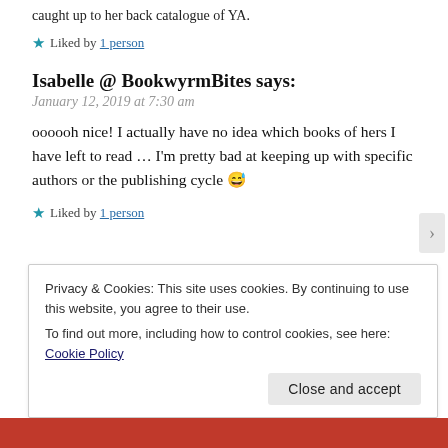caught up to her back catalogue of YA.
★ Liked by 1 person
Isabelle @ BookwyrmBites says:
January 12, 2019 at 7:30 am
oooooh nice! I actually have no idea which books of hers I have left to read … I'm pretty bad at keeping up with specific authors or the publishing cycle 😅
★ Liked by 1 person
Privacy & Cookies: This site uses cookies. By continuing to use this website, you agree to their use. To find out more, including how to control cookies, see here: Cookie Policy
Close and accept